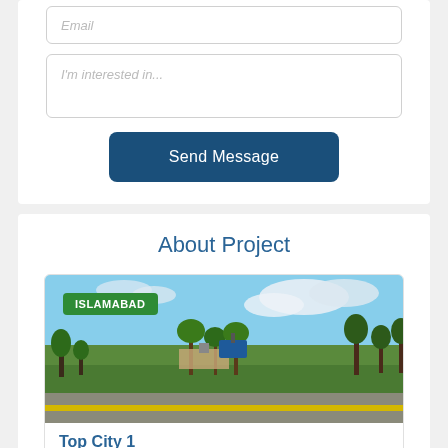[Figure (screenshot): Email input field placeholder]
[Figure (screenshot): I'm interested in... textarea placeholder]
Send Message
About Project
[Figure (photo): Outdoor photo of Top City 1 near Islamabad International Airport, showing green lawns, palm trees, a road with yellow markings, and blue sky with clouds. An ISLAMABAD badge overlays the top-left.]
Top City 1
near New Islamabad International Airport